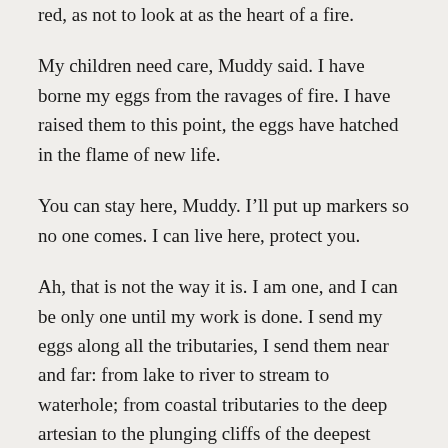red, as not to look at as the heart of a fire.
My children need care, Muddy said. I have borne my eggs from the ravages of fire. I have raised them to this point, the eggs have hatched in the flame of new life.
You can stay here, Muddy. I’ll put up markers so no one comes. I can live here, protect you.
Ah, that is not the way it is. I am one, and I can be only one until my work is done. I send my eggs along all the tributaries, I send them near and far: from lake to river to stream to waterhole; from coastal tributaries to the deep artesian to the plunging cliffs of the deepest seas, I give them the life that was mine.
Why can’t you stay? What did she mean? Milli